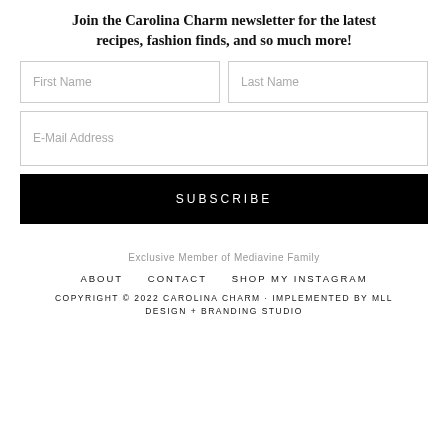Join the Carolina Charm newsletter for the latest recipes, fashion finds, and so much more!
First Name
Last Name
E-Mail Address
SUBSCRIBE
Exclusive Member of Mediavine Family
ABOUT   CONTACT   SHOP MY INSTAGRAM
COPYRIGHT © 2022 CAROLINA CHARM · IMPLEMENTED BY MLL DESIGN + BRANDING STUDIO